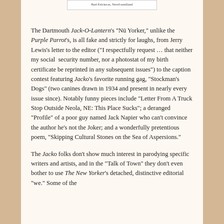[Figure (other): A framed image with caption text reading 'Bad Erickson, Newfoundland']
The Dartmouth Jack-O-Lantern's "Nü Yorker," unlike the Purple Parrot's, is all fake and strictly for laughs, from Jerry Lewis's letter to the editor ("I respectfully request … that neither my social  security number, nor a photostat of my birth certificate be reprinted in any subsequent issues") to the caption contest featuring Jacko's favorite running gag, "Stockman's Dogs" (two canines drawn in 1934 and present in nearly every issue since). Notably funny pieces include "Letter From A Truck Stop Outside Neola, NE: This Place Sucks"; a deranged "Profile" of a poor guy named Jack Napier who can't convince the author he's not the Joker; and a wonderfully pretentious poem, "Skipping Cultural Stones on the Sea of Aspersions."
The Jacko folks don't show much interest in parodying specific writers and artists, and in the "Talk of Town" they don't even bother to use The New Yorker's detached, distinctive editorial "we." Some of the